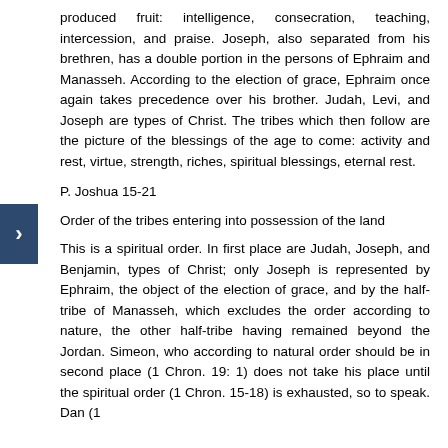produced fruit: intelligence, consecration, teaching, intercession, and praise. Joseph, also separated from his brethren, has a double portion in the persons of Ephraim and Manasseh. According to the election of grace, Ephraim once again takes precedence over his brother. Judah, Levi, and Joseph are types of Christ. The tribes which then follow are the picture of the blessings of the age to come: activity and rest, virtue, strength, riches, spiritual blessings, eternal rest.
P. Joshua 15-21
Order of the tribes entering into possession of the land
This is a spiritual order. In first place are Judah, Joseph, and Benjamin, types of Christ; only Joseph is represented by Ephraim, the object of the election of grace, and by the half-tribe of Manasseh, which excludes the order according to nature, the other half-tribe having remained beyond the Jordan. Simeon, who according to natural order should be in second place (1 Chron. 19: 1) does not take his place until the spiritual order (1 Chron. 15-18) is exhausted, so to speak. Dan (1